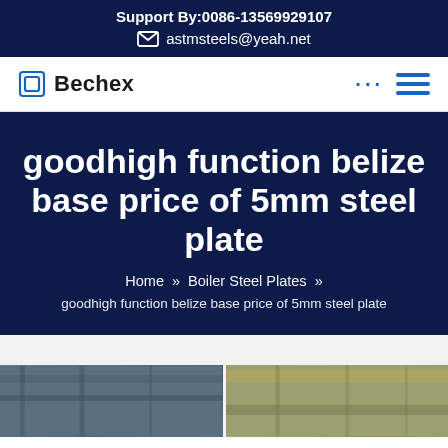Support By:0086-13569929107
astmsteels@yeah.net
Bechex
goodhigh function belize base price of 5mm steel plate
Home » Boiler Steel Plates » goodhigh function belize base price of 5mm steel plate
[Figure (photo): Industrial steel manufacturing facility interior showing steel plates and overhead crane structures]